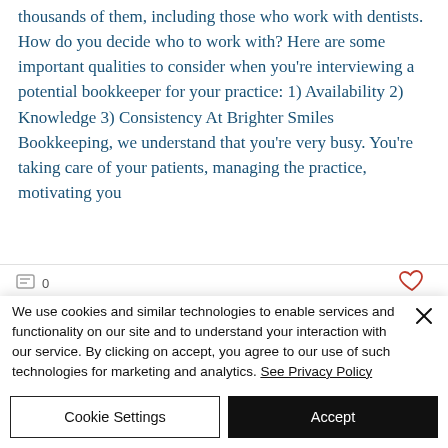thousands of them, including those who work with dentists. How do you decide who to work with? Here are some important qualities to consider when you're interviewing a potential bookkeeper for your practice: 1) Availability 2) Knowledge 3) Consistency At Brighter Smiles Bookkeeping, we understand that you're very busy. You're taking care of your patients, managing the practice, motivating you
We use cookies and similar technologies to enable services and functionality on our site and to understand your interaction with our service. By clicking on accept, you agree to our use of such technologies for marketing and analytics. See Privacy Policy